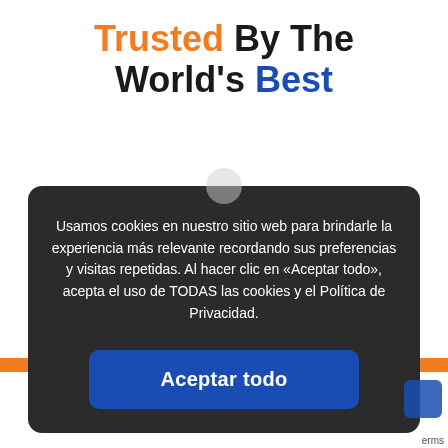Trusted By The World's Best
Usamos cookies en nuestro sitio web para brindarle la experiencia más relevante recordando sus preferencias y visitas repetidas. Al hacer clic en «Aceptar todo», acepta el uso de TODAS las cookies y el Política de Privacidad.
Aceptar todo